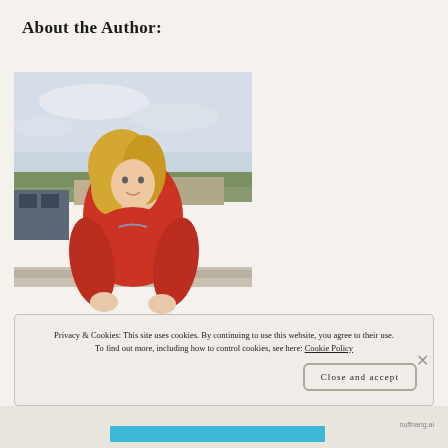About the Author:
[Figure (photo): Photo of a young blonde woman wearing a red sweater, standing on a rooftop or elevated area with trees and buildings in the background on a cloudy day.]
Privacy & Cookies: This site uses cookies. By continuing to use this website, you agree to their use.
To find out more, including how to control cookies, see here: Cookie Policy
Close and accept